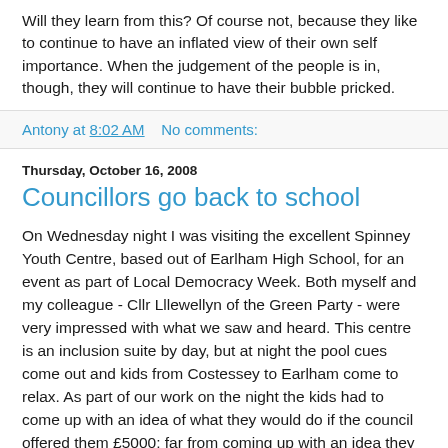Will they learn from this? Of course not, because they like to continue to have an inflated view of their own self importance. When the judgement of the people is in, though, they will continue to have their bubble pricked.
Antony at 8:02 AM    No comments:
Thursday, October 16, 2008
Councillors go back to school
On Wednesday night I was visiting the excellent Spinney Youth Centre, based out of Earlham High School, for an event as part of Local Democracy Week. Both myself and my colleague - Cllr Lllewellyn of the Green Party - were very impressed with what we saw and heard. This centre is an inclusion suite by day, but at night the pool cues come out and kids from Costessey to Earlham come to relax. As part of our work on the night the kids had to come up with an idea of what they would do if the council offered them £5000; far from coming up with an idea they came up with dozens! And